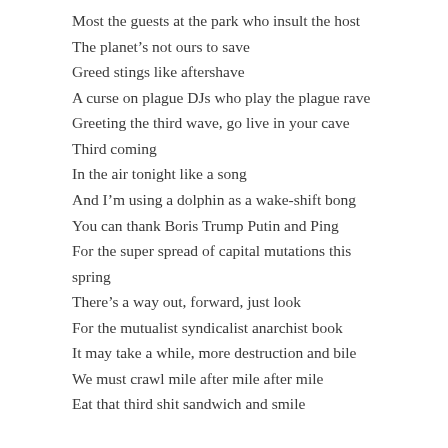Most the guests at the park who insult the host
The planet's not ours to save
Greed stings like aftershave
A curse on plague DJs who play the plague rave
Greeting the third wave, go live in your cave
Third coming
In the air tonight like a song
And I'm using a dolphin as a wake-shift bong
You can thank Boris Trump Putin and Ping
For the super spread of capital mutations this spring
There's a way out, forward, just look
For the mutualist syndicalist anarchist book
It may take a while, more destruction and bile
We must crawl mile after mile after mile
Eat that third shit sandwich and smile